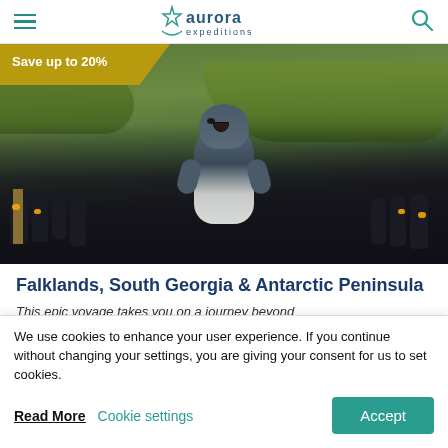Aurora Expeditions - navigation header
[Figure (photo): Hero photo of a seal pup among a colony of king penguins in green tussock grass. A golden banner overlay in the top-left reads 'Save up to 20%'.]
Falklands, South Georgia & Antarctic Peninsula
This epic voyage takes you on a journey beyond
We use cookies to enhance your user experience. If you continue without changing your settings, you are giving your consent for us to set cookies.
Read More  Cookie settings  Accept